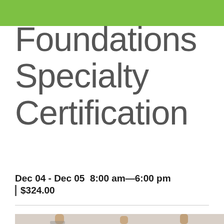Foundations Specialty Certification
Dec 04 - Dec 05  8:00 am—6:00 pm
| $324.00
[Figure (photo): Photo of multiple hands raised upward in a yoga or wellness setting, light background]